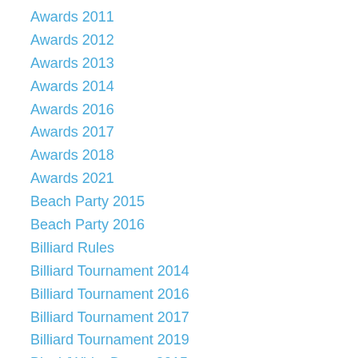Awards 2011
Awards 2012
Awards 2013
Awards 2014
Awards 2016
Awards 2017
Awards 2018
Awards 2021
Beach Party 2015
Beach Party 2016
Billiard Rules
Billiard Tournament 2014
Billiard Tournament 2016
Billiard Tournament 2017
Billiard Tournament 2019
Black/White Dance 2015
Black/White Dance 2017
Black/White Dance 2018
Board 1992
Board 1993